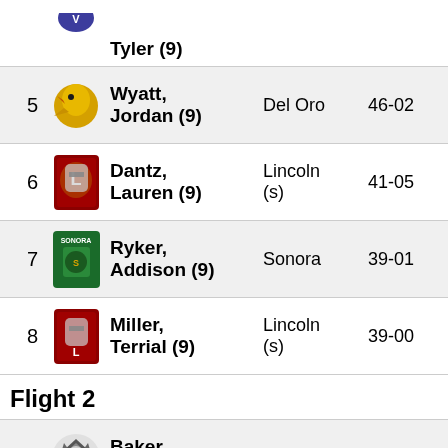Tyler (9)
5 Wyatt, Jordan (9) Del Oro 46-02
6 Dantz, Lauren (9) Lincoln (s) 41-05
7 Ryker, Addison (9) Sonora 39-01
8 Miller, Terrial (9) Lincoln (s) 39-00
Flight 2
1 Baker, Isabella (10) Woodcreek 55-11
2 Delany, Claire (9) Del Oro 55-06
3 Mccauley, Oak 51-01